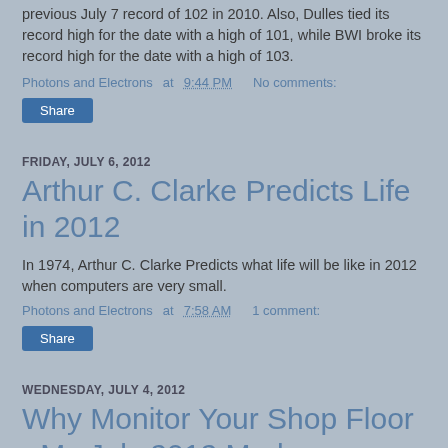previous July 7 record of 102 in 2010. Also, Dulles tied its record high for the date with a high of 101, while BWI broke its record high for the date with a high of 103.
Photons and Electrons at 9:44 PM   No comments:
Share
FRIDAY, JULY 6, 2012
Arthur C. Clarke Predicts Life in 2012
In 1974, Arthur C. Clarke Predicts what life will be like in 2012 when computers are very small.
Photons and Electrons at 7:58 AM   1 comment:
Share
WEDNESDAY, JULY 4, 2012
Why Monitor Your Shop Floor - My July 2012 Modern Machine Shop